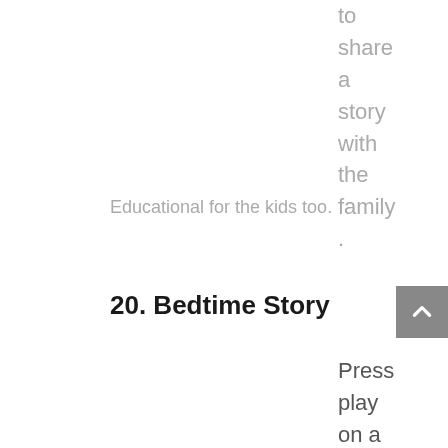to share a story with the family .
Educational for the kids too.
20. Bedtime Story
Press play on a children's